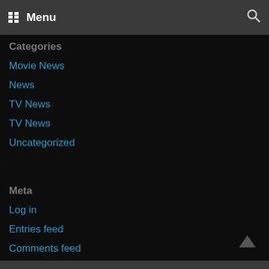Menu
Categories
Movie News
News
TV News
TV News
Uncategorized
Meta
Log in
Entries feed
Comments feed
WordPress.org